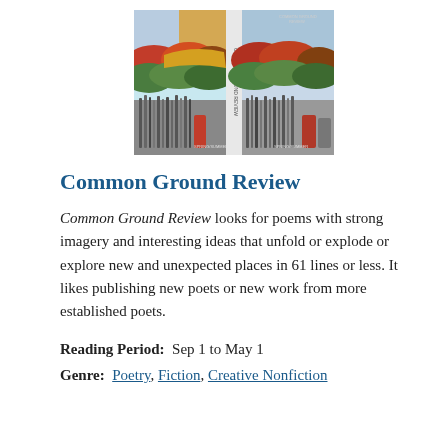[Figure (photo): Book cover image for Common Ground Review literary journal, showing a colorful landscape painting on the front and art supplies/brushes on the bottom portion, with a spine visible in the center.]
Common Ground Review
Common Ground Review looks for poems with strong imagery and interesting ideas that unfold or explode or explore new and unexpected places in 61 lines or less. It likes publishing new poets or new work from more established poets.
Reading Period:  Sep 1 to May 1
Genre:  Poetry, Fiction, Creative Nonfiction